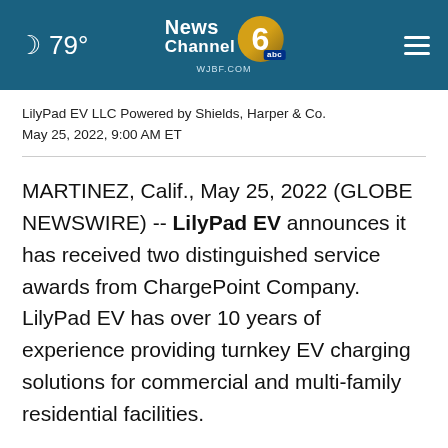79° | NewsChannel 6 abc WJBF.COM
LilyPad EV LLC Powered by Shields, Harper & Co.
May 25, 2022, 9:00 AM ET
MARTINEZ, Calif., May 25, 2022 (GLOBE NEWSWIRE) -- LilyPad EV announces it has received two distinguished service awards from ChargePoint Company. LilyPad EV has over 10 years of experience providing turnkey EV charging solutions for commercial and multi-family residential facilities.
Co-founder and VP of Business Development